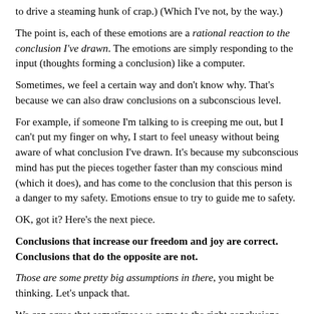to drive a steaming hunk of crap.) (Which I've not, by the way.)
The point is, each of these emotions are a rational reaction to the conclusion I've drawn. The emotions are simply responding to the input (thoughts forming a conclusion) like a computer.
Sometimes, we feel a certain way and don't know why. That's because we can also draw conclusions on a subconscious level.
For example, if someone I'm talking to is creeping me out, but I can't put my finger on why, I start to feel uneasy without being aware of what conclusion I've drawn. It's because my subconscious mind has put the pieces together faster than my conscious mind (which it does), and has come to the conclusion that this person is a danger to my safety. Emotions ensue to try to guide me to safety.
OK, got it? Here's the next piece.
Conclusions that increase our freedom and joy are correct. Conclusions that do the opposite are not.
Those are some pretty big assumptions in there, you might be thinking. Let's unpack that.
We can agree that sometimes we come to the right conclusions